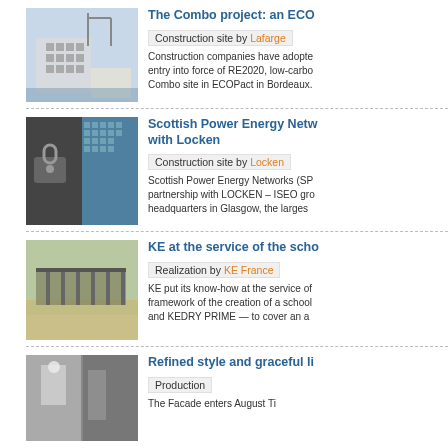[Figure (photo): Construction site photo showing a building under construction with crane]
The Combo project: an ECO
Construction site by Lafarge
Construction companies have adopted entry into force of RE2020, low-carbon Combo site in ECOPact in Bordeaux.
[Figure (photo): Photo showing a door lock mechanism on the left and a glass office building on the right]
Scottish Power Energy Networks with Locken
Construction site by Locken
Scottish Power Energy Networks (SP partnership with LOCKEN – ISEO group headquarters in Glasgow, the largest
[Figure (photo): Photo of an outdoor covered area or pergola structure, possibly a school facility]
KE at the service of the school
Realization by KE France
KE put its know-how at the service of framework of the creation of a school and KEDRY PRIME — to cover an area
[Figure (photo): Interior photo showing a refined bathroom or hallway space]
Refined style and graceful living
Production
The Facade enters August Ti